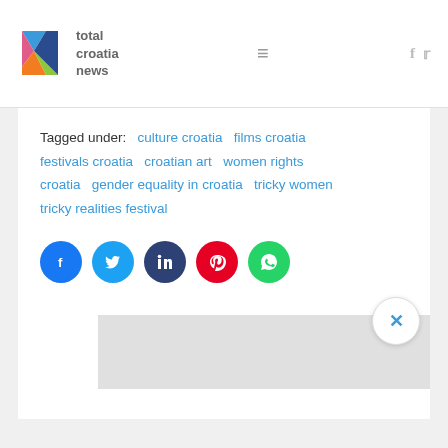total croatia news
Tagged under: culture croatia  films croatia  festivals croatia  croatian art  women rights croatia  gender equality in croatia  tricky women  tricky realities festival
[Figure (other): Row of five social share buttons: Facebook (blue), Twitter (light blue), LinkedIn (dark blue), Pinterest (red), WhatsApp (green)]
[Figure (other): Close/dismiss button (X) in a white circle, and a partially visible ad band at the bottom of the content card]